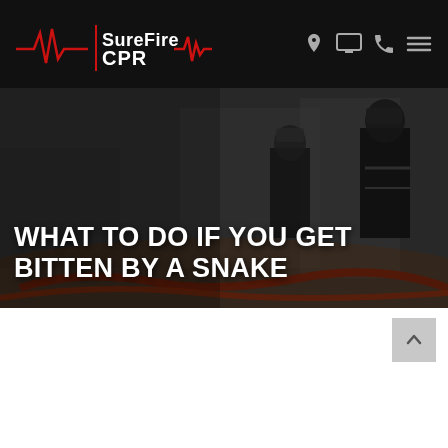SureFire CPR
[Figure (photo): Background photo of firefighters in gear working at night scene with hoses, darkened with overlay]
WHAT TO DO IF YOU GET BITTEN BY A SNAKE